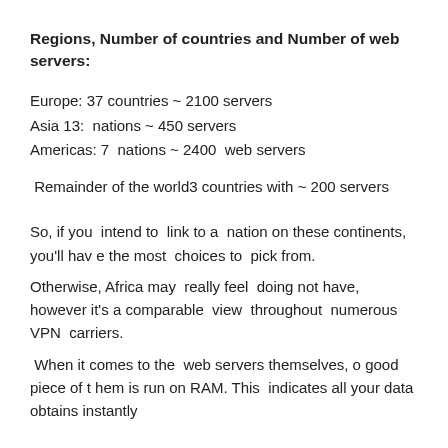Regions, Number of countries and Number of web servers:
Europe: 37 countries ~ 2100 servers
Asia 13:  nations ~ 450 servers
Americas: 7  nations ~ 2400  web servers
Remainder of the world3 countries with ~ 200 servers
So, if you  intend to  link to a  nation on these continents, you'll have the most  choices to  pick from.
Otherwise, Africa may  really feel  doing not have,  however it's a comparable  view  throughout  numerous VPN  carriers.
When it comes to the  web servers themselves, o good  piece of them is run on RAM. This  indicates all your data  obtains instantly